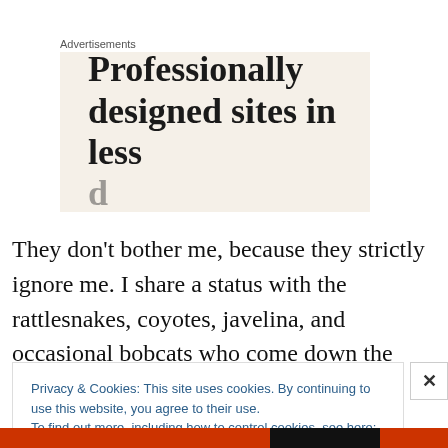Advertisements
[Figure (screenshot): Advertisement banner with cream/beige background showing text 'Professionally designed sites in less' (cut off at bottom)]
They don't bother me, because they strictly ignore me. I share a status with the rattlesnakes, coyotes, javelina, and occasional bobcats who come down the wash. Though
Privacy & Cookies: This site uses cookies. By continuing to use this website, you agree to their use.
To find out more, including how to control cookies, see here: Cookie Policy
Close and accept